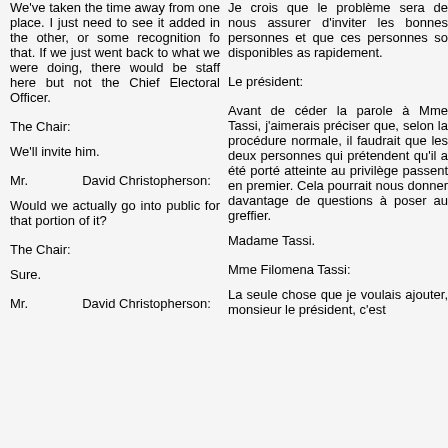We've taken the time away from one place. I just need to see it added in the other, or some recognition fo that. If we just went back to what we were doing, there would be staff here but not the Chief Electoral Officer.
The Chair:
We'll invite him.
Mr. David Christopherson:
Would we actually go into public for that portion of it?
The Chair:
Sure.
Mr. David Christopherson:
Je crois que le problème sera de nous assurer d'inviter les bonnes personnes et que ces personnes so disponibles as rapidement.
Le président:
Avant de céder la parole à Mme Tassi, j'aimerais préciser que, selon la procédure normale, il faudrait que les deux personnes qui prétendent qu'il a été porté atteinte au privilège passent en premier. Cela pourrait nous donner davantage de questions à poser au greffier.
Madame Tassi.
Mme Filomena Tassi:
La seule chose que je voulais ajouter, monsieur le président, c'est